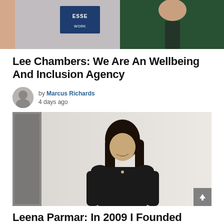[Figure (photo): Cropped top portion of a photo showing a person in a dark green jacket with 'ESSE' text visible in background]
Lee Chambers: We Are An Wellbeing And Inclusion Agency
by Marcus Richards
4 days ago
[Figure (photo): Portrait photo of a woman with long dark hair wearing a black top, standing against a light background]
Leena Parmar: In 2009 I Founded